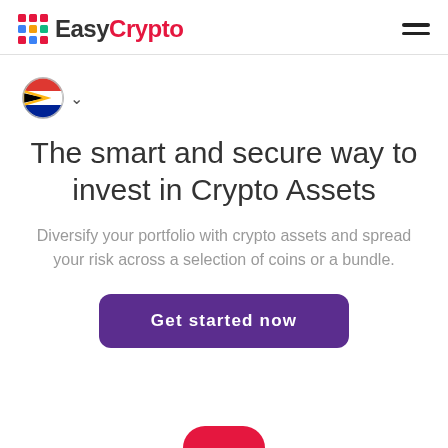EasyCrypto
[Figure (logo): EasyCrypto logo with colorful grid icon and brand name]
[Figure (illustration): South African flag circle with dropdown chevron for region selection]
The smart and secure way to invest in Crypto Assets
Diversify your portfolio with crypto assets and spread your risk across a selection of coins or a bundle.
Get started now